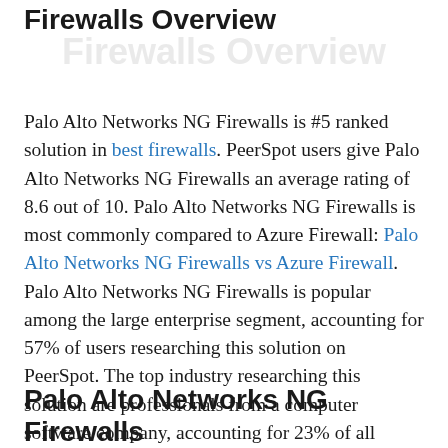Firewalls Overview
Palo Alto Networks NG Firewalls is #5 ranked solution in best firewalls. PeerSpot users give Palo Alto Networks NG Firewalls an average rating of 8.6 out of 10. Palo Alto Networks NG Firewalls is most commonly compared to Azure Firewall: Palo Alto Networks NG Firewalls vs Azure Firewall. Palo Alto Networks NG Firewalls is popular among the large enterprise segment, accounting for 57% of users researching this solution on PeerSpot. The top industry researching this solution are professionals from a computer software company, accounting for 23% of all views.
Palo Alto Networks NG Firewalls